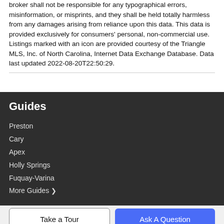broker shall not be responsible for any typographical errors, misinformation, or misprints, and they shall be held totally harmless from any damages arising from reliance upon this data. This data is provided exclusively for consumers' personal, non-commercial use. Listings marked with an icon are provided courtesy of the Triangle MLS, Inc. of North Carolina, Internet Data Exchange Database. Data last updated 2022-08-20T22:50:29.
Guides
Preston
Cary
Apex
Holly Springs
Fuquay-Varina
More Guides >